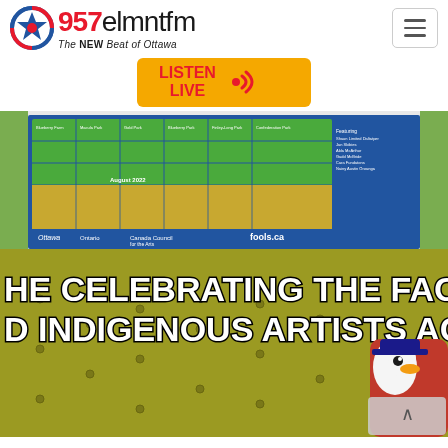[Figure (logo): 95.7 elmnt fm radio station logo with snowflake icon and tagline 'The NEW Beat of Ottawa', plus hamburger menu button]
[Figure (other): Orange 'LISTEN LIVE' button with speaker/wave icon]
[Figure (photo): Photo of an outdoor event schedule board showing a calendar grid with blue background and logos for Ottawa, Canada Council for the Arts, Ontario, and fools.ca]
[Figure (photo): Meme image with bold white text 'HE CELEBRATING THE FACT THAT' and 'D INDIGENOUS ARTISTS ACROS' over a yellow-green textured background with a cartoon character peeking in from the right]